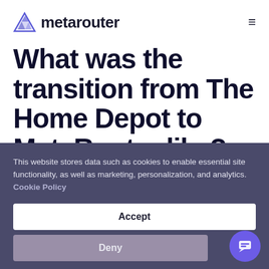metarouter
What was the transition from The Home Depot to MetaRouter like?
This website stores data such as cookies to enable essential site functionality, as well as marketing, personalization, and analytics. Cookie Policy
Accept
Deny